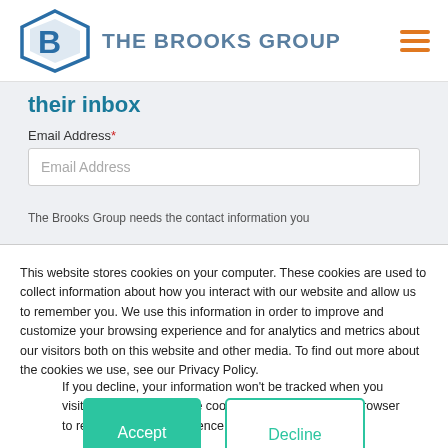THE BROOKS GROUP
their inbox
Email Address*
Email Address (placeholder)
The Brooks Group needs the contact information you
This website stores cookies on your computer. These cookies are used to collect information about how you interact with our website and allow us to remember you. We use this information in order to improve and customize your browsing experience and for analytics and metrics about our visitors both on this website and other media. To find out more about the cookies we use, see our Privacy Policy.
If you decline, your information won't be tracked when you visit this website. A single cookie will be used in your browser to remember your preference not to be tracked.
Accept
Decline